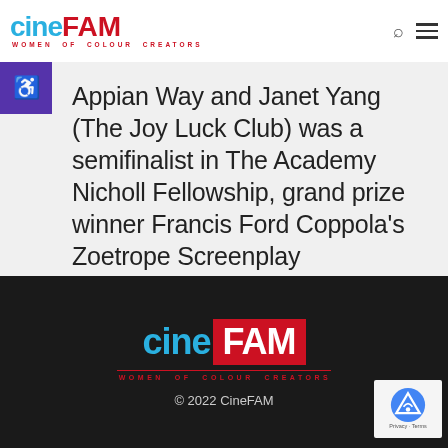[Figure (logo): CineFAM logo with 'cine' in cyan and 'FAM' in red, with tagline 'WOMEN OF COLOUR CREATORS']
Appian Way and Janet Yang (The Joy Luck Club) was a semifinalist in The Academy Nicholl Fellowship, grand prize winner Francis Ford Coppola's Zoetrope Screenplay Competition, top 14...
[Figure (logo): CineFAM footer logo with 'cine' in cyan and 'FAM' in white on red background, tagline 'WOMEN OF COLOUR CREATORS']
© 2022 CineFAM